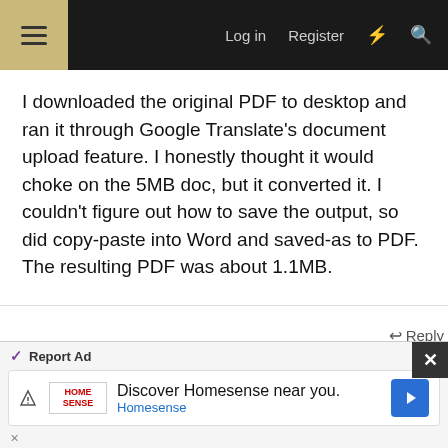Log in  Register
I downloaded the original PDF to desktop and ran it through Google Translate's document upload feature. I honestly thought it would choke on the 5MB doc, but it converted it. I couldn't figure out how to save the output, so did copy-paste into Word and saved-as to PDF. The resulting PDF was about 1.1MB.
↩ Reply
🐵 monkeymath
Jan 24, 2022   #45
MaxStout
Supporting Member  HBT Supporter
Report Ad
Discover Homesense near you.
Homesense